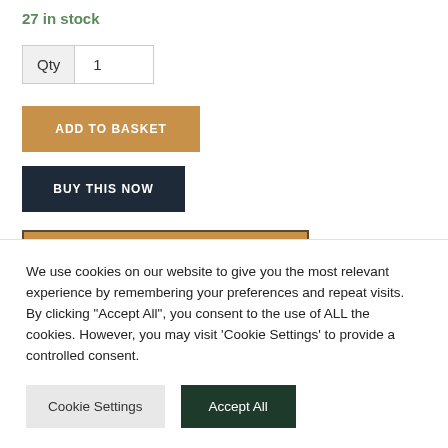27 in stock
Qty  1
ADD TO BASKET
BUY THIS NOW
| Qty | Discount (%) | Price |
| --- | --- | --- |
We use cookies on our website to give you the most relevant experience by remembering your preferences and repeat visits. By clicking "Accept All", you consent to the use of ALL the cookies. However, you may visit 'Cookie Settings' to provide a controlled consent.
Cookie Settings
Accept All